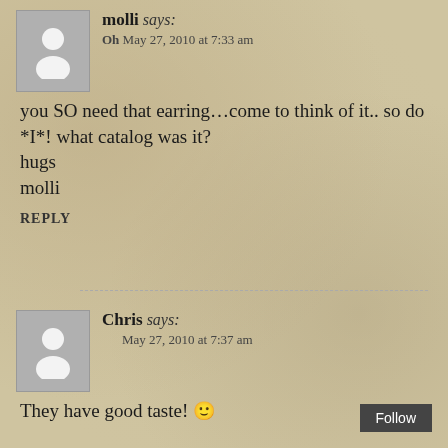molli says: Oh May 27, 2010 at 7:33 am
you SO need that earring…come to think of it.. so do *I*! what catalog was it?
hugs
molli
REPLY
Chris says: May 27, 2010 at 7:37 am
They have good taste! 🙂